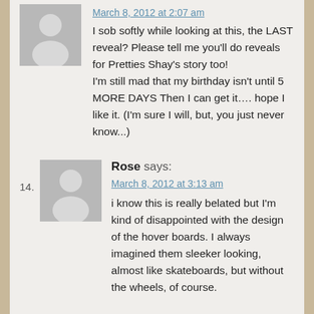March 8, 2012 at 2:07 am
I sob softly while looking at this, the LAST reveal? Please tell me you'll do reveals for Pretties Shay's story too!
I'm still mad that my birthday isn't until 5 MORE DAYS Then I can get it.... hope I like it. (I'm sure I will, but, you just never know...)
Rose says:
March 8, 2012 at 3:13 am
i know this is really belated but I'm kind of disappointed with the design of the hover boards. I always imagined them sleeker looking, almost like skateboards, but without the wheels, of course.